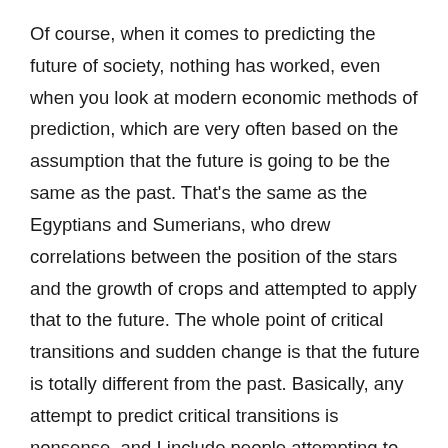Of course, when it comes to predicting the future of society, nothing has worked, even when you look at modern economic methods of prediction, which are very often based on the assumption that the future is going to be the same as the past. That's the same as the Egyptians and Sumerians, who drew correlations between the position of the stars and the growth of crops and attempted to apply that to the future. The whole point of critical transitions and sudden change is that the future is totally different from the past. Basically, any attempt to predict critical transitions is nonsense, and I include people attempting to use biblical prophesies. I especially include them, I'm afraid.